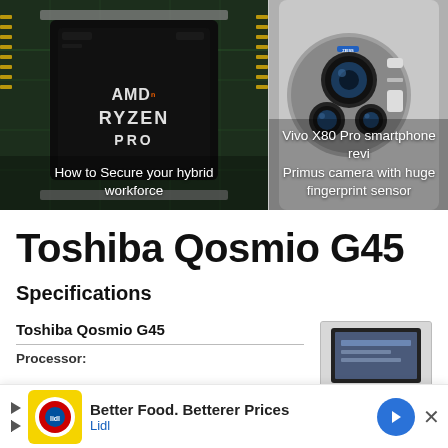[Figure (photo): AMD Ryzen Pro processor chip closeup on circuit board with caption 'How to Secure your hybrid workforce']
[Figure (photo): Vivo X80 Pro smartphone rear camera module with caption 'Vivo X80 Pro smartphone review - Primus camera with huge fingerprint sensor']
Toshiba Qosmio G45
Specifications
Toshiba Qosmio G45
Processor:
[Figure (photo): Toshiba Qosmio G45 laptop image thumbnail]
Better Food. Betterer Prices
Lidl